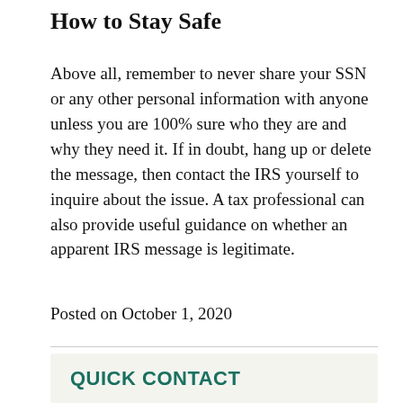How to Stay Safe
Above all, remember to never share your SSN or any other personal information with anyone unless you are 100% sure who they are and why they need it. If in doubt, hang up or delete the message, then contact the IRS yourself to inquire about the issue. A tax professional can also provide useful guidance on whether an apparent IRS message is legitimate.
Posted on October 1, 2020
QUICK CONTACT